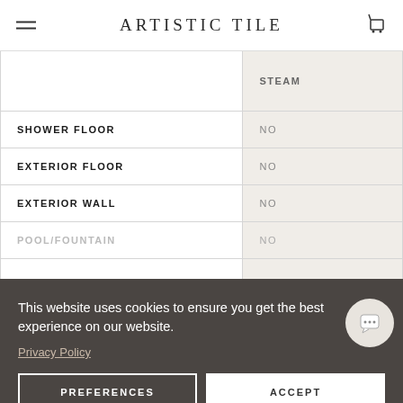ARTISTIC TILE
|  |  |
| --- | --- |
|  | STEAM |
| SHOWER FLOOR | NO |
| EXTERIOR FLOOR | NO |
| EXTERIOR WALL | NO |
| POOL/FOUNTAIN | NO |
|  |  |
| COUNTERTOP | NO |
This website uses cookies to ensure you get the best experience on our website.
Privacy Policy
PREFERENCES
ACCEPT
variation